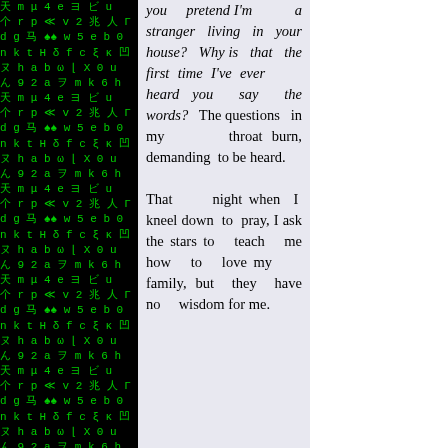you pretend I'm a stranger living in your house? Why is that the first time I've ever heard you say the words? The questions in my throat burn, demanding to be heard.

That night when I kneel down to pray, I ask the stars to teach me how to love my family, but they have no wisdom for me.